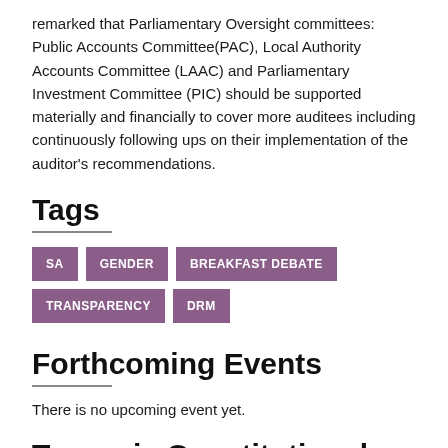remarked that Parliamentary Oversight committees: Public Accounts Committee(PAC), Local Authority Accounts Committee (LAAC) and Parliamentary Investment Committee (PIC) should be supported materially and financially to cover more auditees including continuously following ups on their implementation of the auditor's recommendations.
Tags
SA
GENDER
BREAKFAST DEBATE
TRANSPARENCY
DRM
Forthcoming Events
There is no upcoming event yet.
Tanzania Constitutional Review